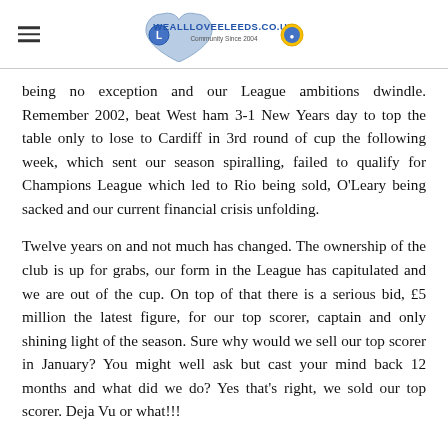weallloveLeeds.co.uk
being no exception and our League ambitions dwindle. Remember 2002, beat West ham 3-1 New Years day to top the table only to lose to Cardiff in 3rd round of cup the following week, which sent our season spiralling, failed to qualify for Champions League which led to Rio being sold, O'Leary being sacked and our current financial crisis unfolding.
Twelve years on and not much has changed. The ownership of the club is up for grabs, our form in the League has capitulated and we are out of the cup. On top of that there is a serious bid, £5 million the latest figure, for our top scorer, captain and only shining light of the season. Sure why would we sell our top scorer in January? You might well ask but cast your mind back 12 months and what did we do? Yes that's right, we sold our top scorer. Deja Vu or what!!!